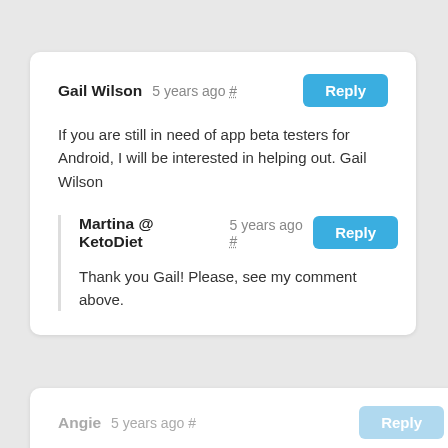Gail Wilson  5 years ago #   Reply
If you are still in need of app beta testers for Android, I will be interested in helping out. Gail Wilson
Martina @ KetoDiet  5 years ago #   Reply
Thank you Gail! Please, see my comment above.
Angie  5 years ago #   Reply